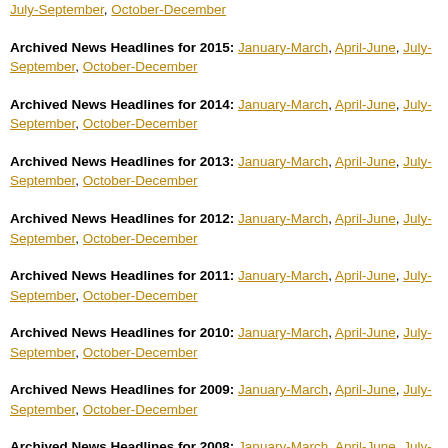Archived News Headlines for 2015: January-March, April-June, July-September, October-December
Archived News Headlines for 2014: January-March, April-June, July-September, October-December
Archived News Headlines for 2013: January-March, April-June, July-September, October-December
Archived News Headlines for 2012: January-March, April-June, July-September, October-December
Archived News Headlines for 2011: January-March, April-June, July-September, October-December
Archived News Headlines for 2010: January-March, April-June, July-September, October-December
Archived News Headlines for 2009: January-March, April-June, July-September, October-December
Archived News Headlines for 2008: January-March, April-June, July-September, October-December
Archived News Headlines for 2007: January-March, April-June, July-September, October-December
Archived News Headlines for 2006: January-March, April-June, July-